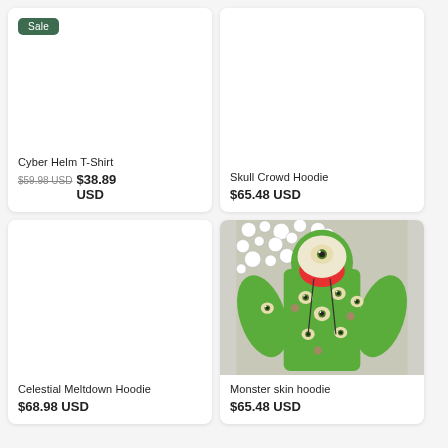[Figure (photo): Product card for Cyber Helm T-Shirt with Sale badge, no product image shown]
Cyber Helm T-Shirt
$59.98 USD  $38.89 USD
[Figure (photo): Product card for Skull Crowd Hoodie, no product image shown]
Skull Crowd Hoodie
$65.48 USD
[Figure (photo): Product card for Celestial Meltdown Hoodie, no product image shown]
Celestial Meltdown Hoodie
$68.98 USD
[Figure (photo): Product card showing Monster skin hoodie - green hoodie covered in cartoon eyeballs with red mouth hood lining, on skull crowd background]
Monster skin hoodie
$65.48 USD